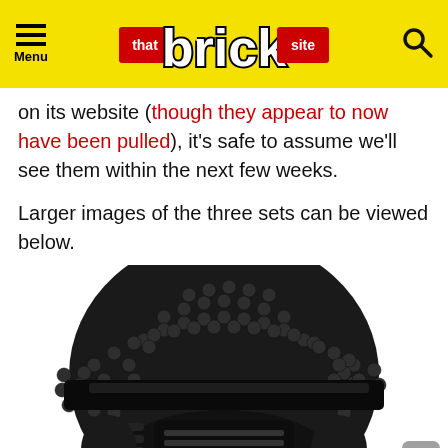Menu | that brick site
on its website (though they appear to now have been pulled), it's safe to assume we'll see them within the next few weeks.
Larger images of the three sets can be viewed below.
[Figure (photo): A LEGO Darth Vader helmet built from black LEGO bricks, showing the rounded dome shape with visible studs and a central black visor/mask piece.]